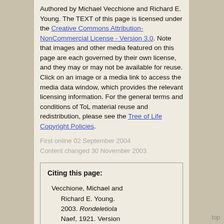Authored by Michael Vecchione and Richard E. Young. The TEXT of this page is licensed under the Creative Commons Attribution-NonCommercial License - Version 3.0. Note that images and other media featured on this page are each governed by their own license, and they may or may not be available for reuse. Click on an image or a media link to access the media data window, which provides the relevant licensing information. For the general terms and conditions of ToL material reuse and redistribution, please see the Tree of Life Copyright Policies.
First online 02 September 2004
Content changed 30 November 2003
Citing this page:

Vecchione, Michael and Richard E. Young. 2003. Rondeletiola Naef, 1921. Version 30 November 2003 (under construction). http://tolweb.org/Rondeletiola/20040/2003.11.30 in The Tree of Life Web Project, http://tolweb.org/